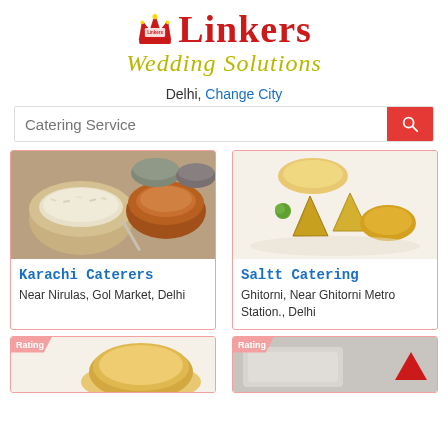[Figure (logo): Linkers Wedding Solutions logo with crown icon, red serif Linkers text and olive/yellow italic Wedding Solutions text]
Delhi, Change City
Catering Service (search bar)
[Figure (photo): Food spread - Indian dishes in metal bowls including rice and curries]
Karachi Caterers
Near Nirulas, Gol Market, Delhi
[Figure (photo): Indian snacks/appetizers spread including samosas and other fried items on white background]
Saltt Catering
Ghitorni, Near Ghitorni Metro Station., Delhi
[Figure (photo): Partial view of catering listing with Rating badge - round bread item]
[Figure (photo): Partial view of catering listing with Rating badge - catering dish]